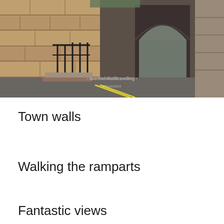[Figure (photo): Photograph of an old stone town wall or fortification gate with an arched passageway. A cobblestone road leads through the arch. Iron railings and steps visible on the left side. Watermark text reads '- overthehillstilltravelling -' and 'PhotoGrid'.]
Town walls
Walking the ramparts
Fantastic views